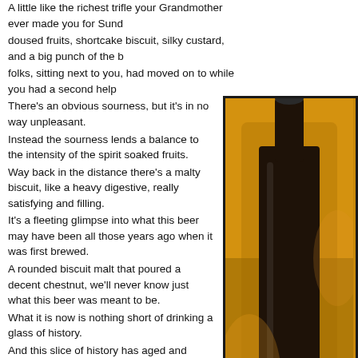A little like the richest trifle your Grandmother ever made you for Sunday dinner: spirit doused fruits, shortcake biscuit, silky custard, and a big punch of the booze that the folks, sitting next to you, had moved on to while you had a second helping.
There's an obvious sourness, but it's in no way unpleasant.
Instead the sourness lends a balance to the intensity of the spirit soaked fruits.
Way back in the distance there's a malty biscuit, like a heavy digestive, really satisfying and filling.
It's a fleeting glimpse into what this beer may have been all those years ago when it was first brewed.
A rounded biscuit malt that poured a decent chestnut, we'll never know just what this beer was meant to be.
What it is now is nothing short of drinking a glass of history.
And this slice of history has aged and developed into a really rather astonishing thing.
A Lambic-like sour beer full of rum and raisins and sherry trifle, the mould and cheese tang cuts across everything else and replaces the now forgotten
[Figure (photo): Close-up photo of a dark beer bottle on a warm golden/amber background, showing the bottle from the top angled down, with a dark brown bottle and partially visible label area at the bottom.]